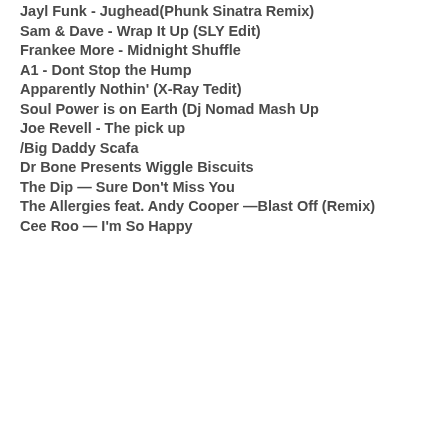Jayl Funk - Jughead(Phunk Sinatra Remix)
Sam & Dave - Wrap It Up (SLY Edit)
Frankee More - Midnight Shuffle
A1 - Dont Stop the Hump
Apparently Nothin' (X-Ray Tedit)
Soul Power is on Earth (Dj Nomad Mash Up
Joe Revell - The pick up
/Big Daddy Scafa
Dr Bone Presents Wiggle Biscuits
The Dip — Sure Don't Miss You
The Allergies feat. Andy Cooper —Blast Off (Remix)
Cee Roo — I'm So Happy